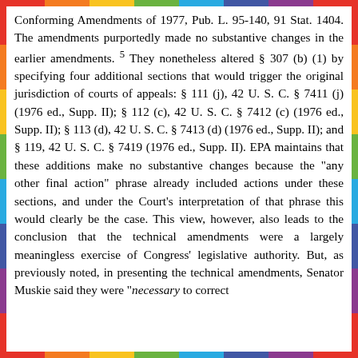Conforming Amendments of 1977, Pub. L. 95-140, 91 Stat. 1404. The amendments purportedly made no substantive changes in the earlier amendments. 5 They nonetheless altered § 307 (b) (1) by specifying four additional sections that would trigger the original jurisdiction of courts of appeals: § 111 (j), 42 U. S. C. § 7411 (j) (1976 ed., Supp. II); § 112 (c), 42 U. S. C. § 7412 (c) (1976 ed., Supp. II); § 113 (d), 42 U. S. C. § 7413 (d) (1976 ed., Supp. II); and § 119, 42 U. S. C. § 7419 (1976 ed., Supp. II). EPA maintains that these additions make no substantive changes because the "any other final action" phrase already included actions under these sections, and under the Court's interpretation of that phrase this would clearly be the case. This view, however, also leads to the conclusion that the technical amendments were a largely meaningless exercise of Congress' legislative authority. But, as previously noted, in presenting the technical amendments, Senator Muskie said they were "necessary to correct